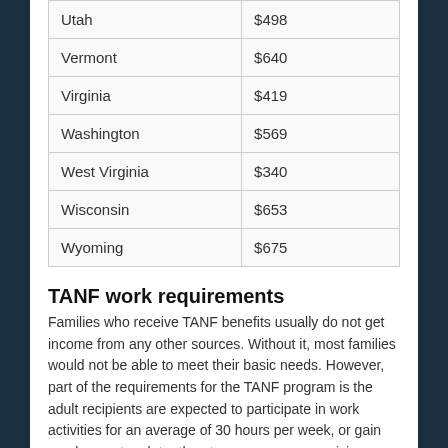| Utah | $498 |
| Vermont | $640 |
| Virginia | $419 |
| Washington | $569 |
| West Virginia | $340 |
| Wisconsin | $653 |
| Wyoming | $675 |
TANF work requirements
Families who receive TANF benefits usually do not get income from any other sources. Without it, most families would not be able to meet their basic needs. However, part of the requirements for the TANF program is the adult recipients are expected to participate in work activities for an average of 30 hours per week, or gain employment no later than two years upon receiving assistance.
Single parents must participate in a work activity for a